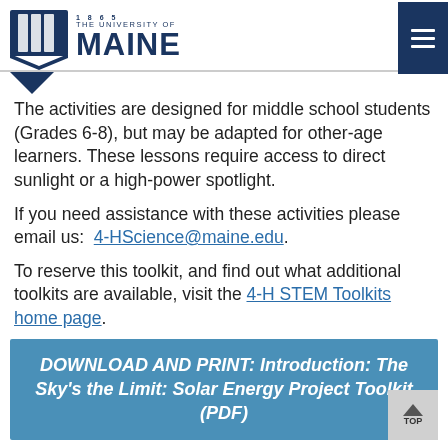1865 THE UNIVERSITY OF MAINE
The activities are designed for middle school students (Grades 6-8), but may be adapted for other-age learners. These lessons require access to direct sunlight or a high-power spotlight.
If you need assistance with these activities please email us: 4-HScience@maine.edu.
To reserve this toolkit, and find out what additional toolkits are available, visit the 4-H STEM Toolkits home page.
DOWNLOAD AND PRINT: Introduction: The Sky's the Limit: Solar Energy Project Toolkit (PDF)